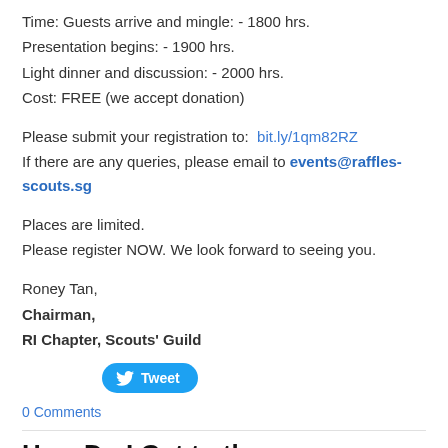Time: Guests arrive and mingle: - 1800 hrs.
Presentation begins: - 1900 hrs.
Light dinner and discussion: - 2000 hrs.
Cost: FREE (we accept donation)
Please submit your registration to: bit.ly/1qm82RZ
If there are any queries, please email to events@raffles-scouts.sg
Places are limited.
Please register NOW. We look forward to seeing you.
Roney Tan,
Chairman,
RI Chapter, Scouts' Guild
[Figure (other): Twitter Tweet button]
0 Comments
How Do I Get to the Dinner/Campfire?
5/7/2011   2 Comments